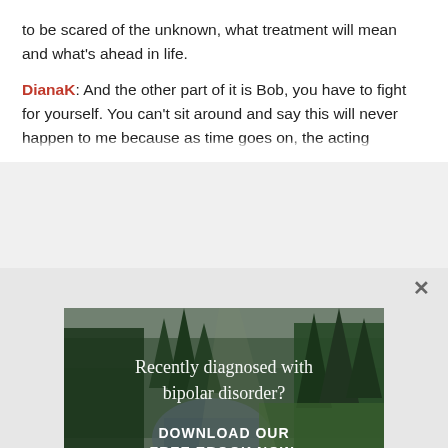to be scared of the unknown, what treatment will mean and what's ahead in life.
DianaK: And the other part of it is Bob, you have to fight for yourself. You can't sit around and say this will never happen to me because as time goes on the acting...
[Figure (photo): Advertisement showing a forest scene with river and trees, overlaid with text: 'Recently diagnosed with bipolar disorder? DOWNLOAD OUR FREE EBOOK NOW.']
advertisement